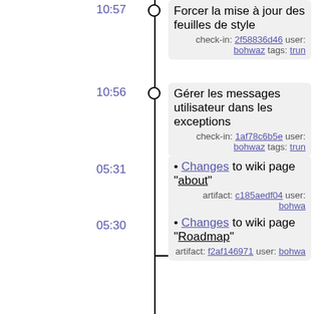10:57 — Forcer la mise à jour des feuilles de style. check-in: 2f58836d46 user: bohwaz tags: trunk
10:56 — Gérer les messages utilisateur dans les exceptions. check-in: 1af78c6b5e user: bohwaz tags: trunk
05:31 — Changes to wiki page "about". artifact: c185aedf04 user: bohwa
05:30 — Changes to wiki page "Roadmap". artifact: f2af146971 user: bohwa
05:30 — Changes to wiki page "Changelog". artifact: 6def99c999 user: bohwa
04:48 — Merge de la branche de dév sur trunk, la 0.8 est la nouvelle version stable. check-in: fa250b1e2a user: bohwaz tags: trunk, stable, 0.8.
01:57 — (truncated)